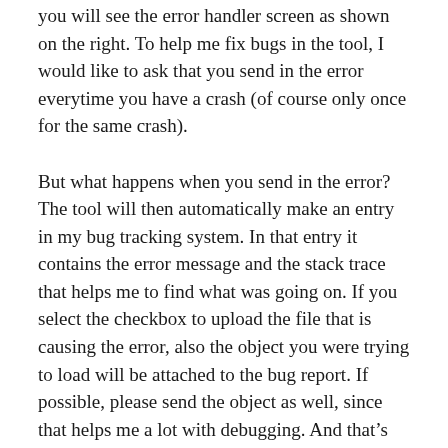you will see the error handler screen as shown on the right. To help me fix bugs in the tool, I would like to ask that you send in the error everytime you have a crash (of course only once for the same crash).
But what happens when you send in the error? The tool will then automatically make an entry in my bug tracking system. In that entry it contains the error message and the stack trace that helps me to find what was going on. If you select the checkbox to upload the file that is causing the error, also the object you were trying to load will be attached to the bug report. If possible, please send the object as well, since that helps me a lot with debugging. And that’s all. No other information is being send about you or your computer.